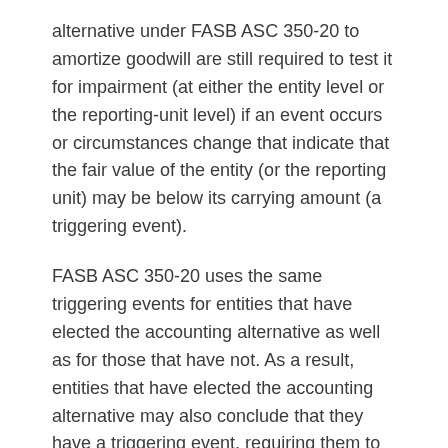alternative under FASB ASC 350-20 to amortize goodwill are still required to test it for impairment (at either the entity level or the reporting-unit level) if an event occurs or circumstances change that indicate that the fair value of the entity (or the reporting unit) may be below its carrying amount (a triggering event).
FASB ASC 350-20 uses the same triggering events for entities that have elected the accounting alternative as well as for those that have not. As a result, entities that have elected the accounting alternative may also conclude that they have a triggering event, requiring them to test goodwill for impairment.